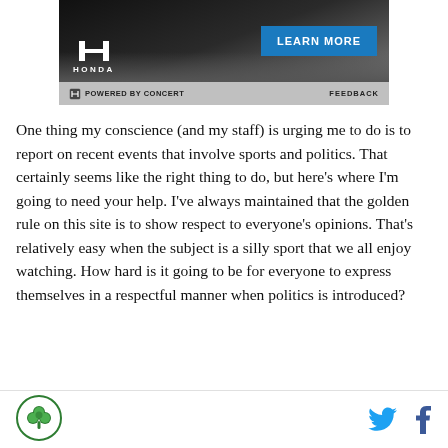[Figure (other): Honda advertisement banner with dark background showing a car on a road, Honda logo on left and 'LEARN MORE' blue button on right, with 'POWERED BY CONCERT' and 'FEEDBACK' footer bar]
One thing my conscience (and my staff) is urging me to do is to report on recent events that involve sports and politics. That certainly seems like the right thing to do, but here's where I'm going to need your help. I've always maintained that the golden rule on this site is to show respect to everyone's opinions. That's relatively easy when the subject is a silly sport that we all enjoy watching. How hard is it going to be for everyone to express themselves in a respectful manner when politics is introduced?
[Figure (logo): Circular green shamrock/clover brand logo at bottom left]
[Figure (other): Twitter and Facebook social share icons at bottom right]